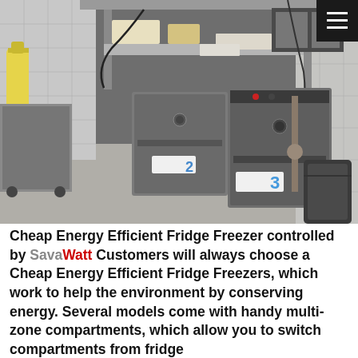[Figure (photo): Commercial kitchen with two stainless steel under-counter refrigerator/freezer units side by side, number 3 label visible on the right unit, stainless steel shelving and equipment above, white tiled walls, yellow cleaning bottle on left, kitchen clutter on upper shelves. Menu hamburger icon in top-right corner on dark background.]
Cheap Energy Efficient Fridge Freezer controlled by SavaWatt Customers will always choose a Cheap Energy Efficient Fridge Freezers, which work to help the environment by conserving energy. Several models come with handy multi-zone compartments, which allow you to switch compartments from fridge